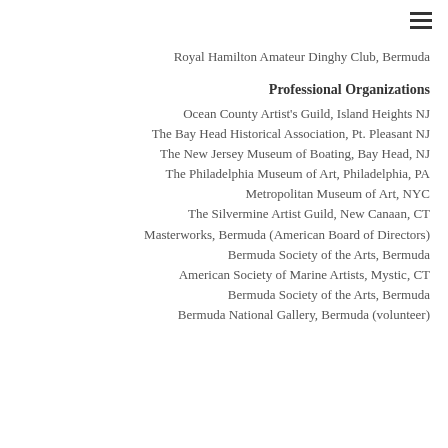Royal Hamilton Amateur Dinghy Club, Bermuda
Professional Organizations
Ocean County Artist's Guild, Island Heights NJ
The Bay Head Historical Association, Pt. Pleasant NJ
The New Jersey Museum of Boating, Bay Head, NJ
The Philadelphia Museum of Art, Philadelphia, PA
Metropolitan Museum of Art, NYC
The Silvermine Artist Guild, New Canaan, CT
Masterworks, Bermuda (American Board of Directors)
Bermuda Society of the Arts, Bermuda
American Society of Marine Artists, Mystic, CT
Bermuda Society of the Arts, Bermuda
Bermuda National Gallery, Bermuda (volunteer)